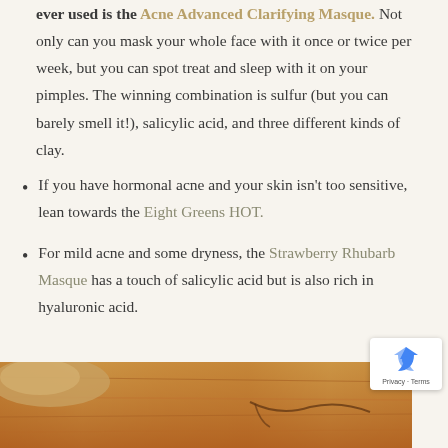ever used is the Acne Advanced Clarifying Masque. Not only can you mask your whole face with it once or twice per week, but you can spot treat and sleep with it on your pimples. The winning combination is sulfur (but you can barely smell it!), salicylic acid, and three different kinds of clay.
If you have hormonal acne and your skin isn't too sensitive, lean towards the Eight Greens HOT.
For mild acne and some dryness, the Strawberry Rhubarb Masque has a touch of salicylic acid but is also rich in hyaluronic acid.
[Figure (photo): A photo showing clay powder and ingredients on a wooden surface, partially visible at the bottom of the page.]